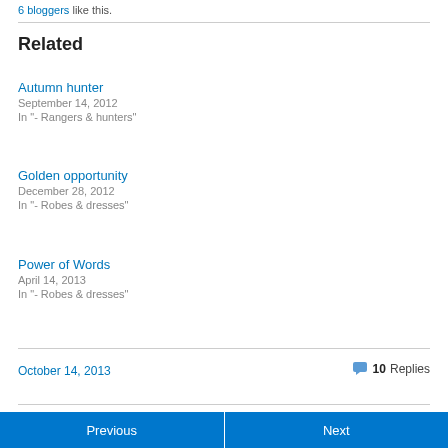6 bloggers like this.
Related
Autumn hunter
September 14, 2012
In "- Rangers & hunters"
Golden opportunity
December 28, 2012
In "- Robes & dresses"
Power of Words
April 14, 2013
In "- Robes & dresses"
October 14, 2013
10 Replies
Previous
Next